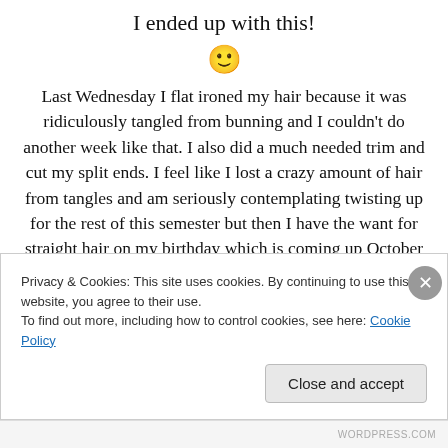I ended up with this!
[Figure (illustration): Smiley face emoji 🙂]
Last Wednesday I flat ironed my hair because it was ridiculously tangled from bunning and I couldn't do another week like that. I also did a much needed trim and cut my split ends. I feel like I lost a crazy amount of hair from tangles and am seriously contemplating twisting up for the rest of this semester but then I have the want for straight hair on my birthday which is coming up October 20th. I'm torn x.x
Privacy & Cookies: This site uses cookies. By continuing to use this website, you agree to their use.
To find out more, including how to control cookies, see here: Cookie Policy
WORDPRESS.COM